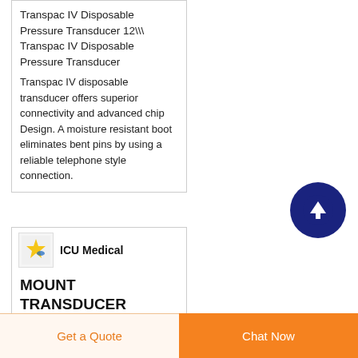Transpac IV Disposable Pressure Transducer 12\\ Transpac IV Disposable Pressure Transducer
Transpac IV disposable transducer offers superior connectivity and advanced chip Design. A moisture resistant boot eliminates bent pins by using a reliable telephone style connection.
[Figure (logo): ICU Medical logo with colorful icon]
ICU Medical MOUNT TRANSDUCER PRESSURE
Get a Quote
Chat Now